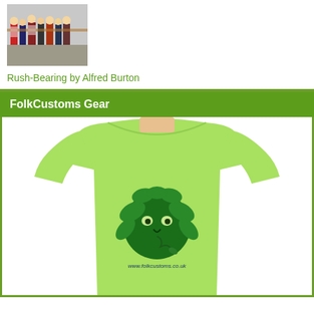[Figure (photo): Photograph of a rush-bearing procession with people in folk costumes carrying rushes, taken outdoors on a street.]
Rush-Bearing by Alfred Burton
FolkCustoms Gear
[Figure (photo): A lime green t-shirt worn by a person, featuring a green man face design printed on the chest with text 'www.folkcustoms.co.uk' below it.]